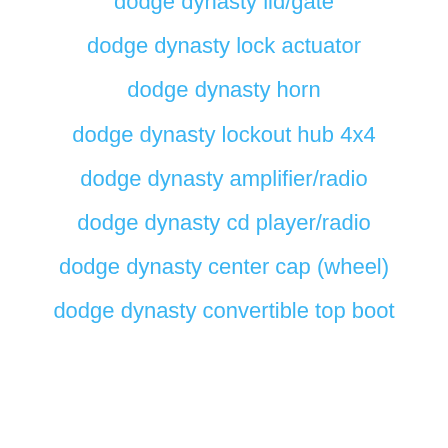dodge dynasty lid/gate
dodge dynasty lock actuator
dodge dynasty horn
dodge dynasty lockout hub 4x4
dodge dynasty amplifier/radio
dodge dynasty cd player/radio
dodge dynasty center cap (wheel)
dodge dynasty convertible top boot